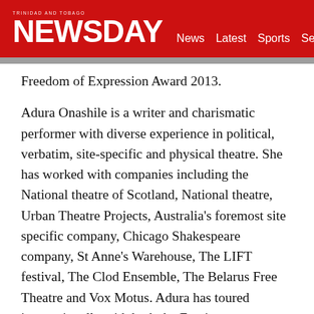TRINIDAD AND TOBAGO NEWSDAY — News Latest Sports Sections
Freedom of Expression Award 2013.
Adura Onashile is a writer and charismatic performer with diverse experience in political, verbatim, site-specific and physical theatre. She has worked with companies including the National theatre of Scotland, National theatre, Urban Theatre Projects, Australia's foremost site specific company, Chicago Shakespeare company, St Anne's Warehouse, The LIFT festival, The Clod Ensemble, The Belarus Free Theatre and Vox Motus. Adura has toured internationally with both the Foreign Commonwealth Office and the British Council.